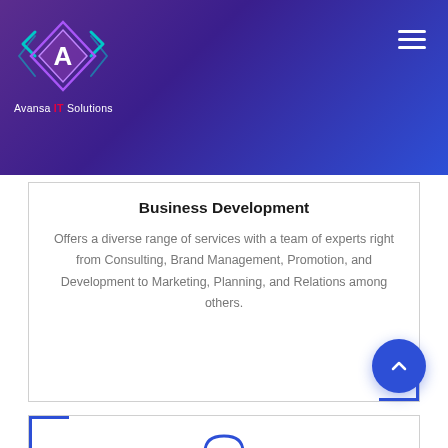[Figure (logo): Avansa IT Solutions logo — diamond/chevron shape in teal/purple with letter A, with company name below]
Business Development
Offers a diverse range of services with a team of experts right from Consulting, Brand Management, Promotion, and Development to Marketing, Planning, and Relations among others.
[Figure (illustration): Blue headset/customer support icon]
Consulting Services
Helps companies bring bold strategies to life in